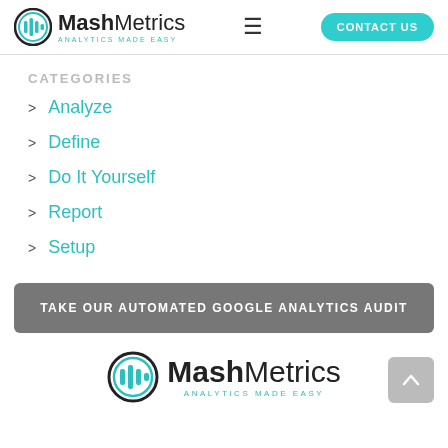MashMetrics ANALYTICS MADE EASY | CONTACT US
CATEGORIES
Analyze
Define
Do It Yourself
Report
Setup
TAKE OUR AUTOMATED GOOGLE ANALYTICS AUDIT
[Figure (logo): MashMetrics logo with tagline ANALYTICS MADE EASY]